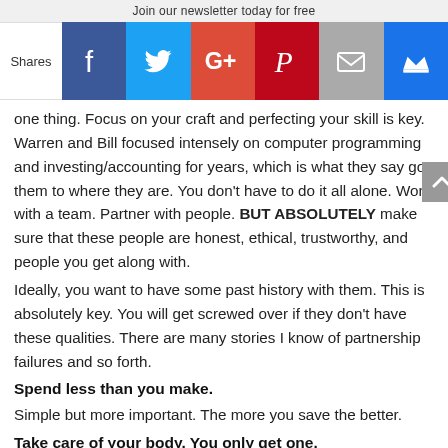Join our newsletter today for free
Shares
one thing. Focus on your craft and perfecting your skill is key. Warren and Bill focused intensely on computer programming and investing/accounting for years, which is what they say got them to where they are. You don’t have to do it all alone. Work with a team. Partner with people. BUT ABSOLUTELY make sure that these people are honest, ethical, trustworthy, and people you get along with.
Ideally, you want to have some past history with them. This is absolutely key. You will get screwed over if they don’t have these qualities. There are many stories I know of partnership failures and so forth.
Spend less than you make.
Simple but more important. The more you save the better.
Take care of your body. You only get one.